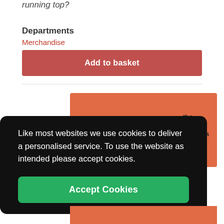running top?
Departments
Merchandise
Add to basket
[Figure (logo): Aplastic Anaemia Trust charity banner with text 'Bringing failed bone marrow back to life' and logo with blood drop icon and text 'the aplastic anaemia trust']
Like most websites we use cookies to deliver a personalised service. To use the website as intended please accept cookies.
Accept Cookies